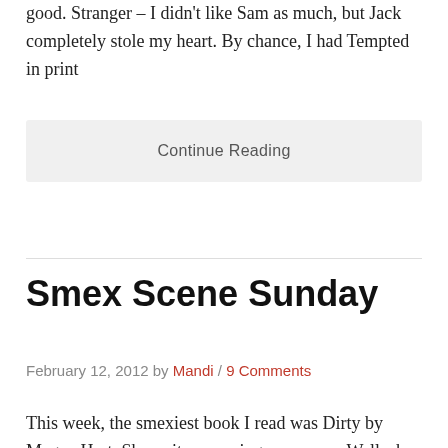good. Stranger – I didn't like Sam as much, but Jack completely stole my heart. By chance, I had Tempted in print
Continue Reading
Smex Scene Sunday
February 12, 2012 by Mandi / 9 Comments
This week, the smexiest book I read was Dirty by Megan Hart. She writes amazing sex scenes Well, she writes